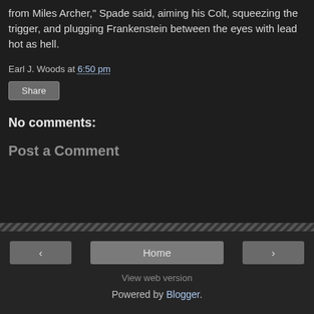from Miles Archer," Spade said, aiming his Colt, squeezing the trigger, and plugging Frankenstein between the eyes with lead hot as hell.
Earl J. Woods at 6:50 pm
Share
No comments:
Post a Comment
‹  Home  ›  View web version  Powered by Blogger.